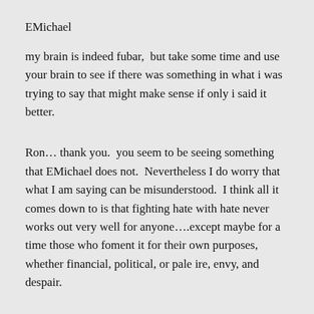EMichael
my brain is indeed fubar,  but take some time and use your brain to see if there was something in what i was trying to say that might make sense if only i said it better.
Ron… thank you.  you seem to be seeing something that EMichael does not.  Nevertheless I do worry that what I am saying can be misunderstood.  I think all it comes down to is that fighting hate with hate never works out very well for anyone….except maybe for a time those who foment it for their own purposes, whether financial, political, or pale ire, envy, and despair.